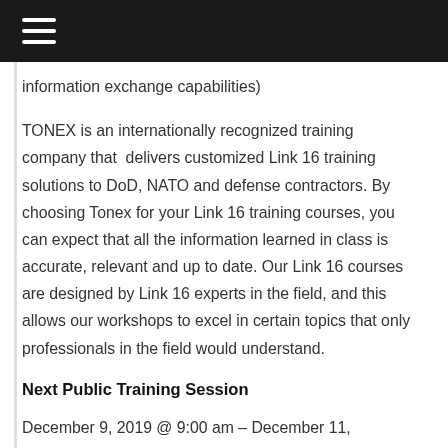information exchange capabilities)
TONEX is an internationally recognized training company that delivers customized Link 16 training solutions to DoD, NATO and defense contractors. By choosing Tonex for your Link 16 training courses, you can expect that all the information learned in class is accurate, relevant and up to date. Our Link 16 courses are designed by Link 16 experts in the field, and this allows our workshops to excel in certain topics that only professionals in the field would understand.
Next Public Training Session
December 9, 2019 @ 9:00 am – December 11,